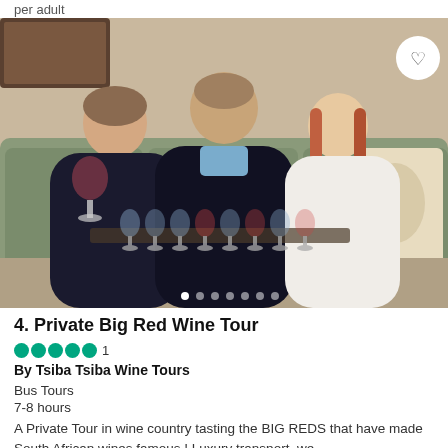per adult
[Figure (photo): Three people sitting on a sofa with wine glasses. Man on left holds a red wine glass, center older man, woman on right with long red hair in white sweater. Wine glasses arranged on table in front.]
4. Private Big Red Wine Tour
5 green circles (full rating) 1
By Tsiba Tsiba Wine Tours
Bus Tours
7-8 hours
A Private Tour in wine country tasting the BIG REDS that have made South African wines famous ! Luxury transport, we